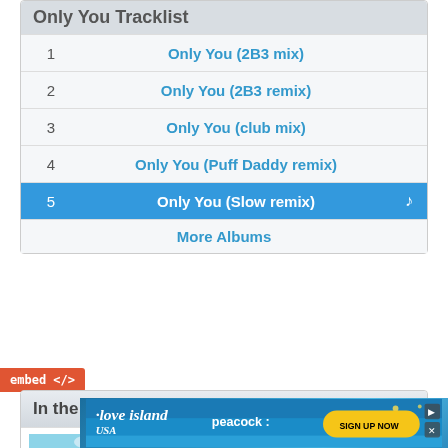Only You Tracklist
| # | Track |
| --- | --- |
| 1 | Only You (2B3 mix) |
| 2 | Only You (2B3 remix) |
| 3 | Only You (club mix) |
| 4 | Only You (Puff Daddy remix) |
| 5 | Only You (Slow remix) |
More Albums
embed </>
In the Know
All Music News »
[Figure (photo): Wipe Out by The Surfaris album cover]
Lyricapsule: The Surfaris Drop 'Wipe Out'; June 22, 1963
[Figure (infographic): Love Island USA on Peacock advertisement banner]